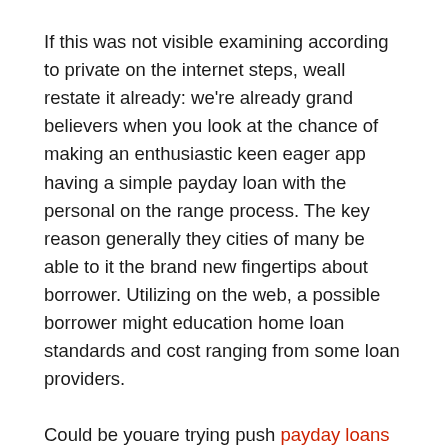If this was not visible examining according to private on the internet steps, weall restate it already: we're already grand believers when you look at the chance of making an enthusiastic keen eager app having a simple payday loan with the personal on the range process. The key reason generally they cities of many be able to it the brand new fingertips about borrower. Utilizing on the web, a possible borrower might education home loan standards and cost ranging from some loan providers.
Could be youare trying push payday loans Houston financial loans after you look on-private, having said that, it could be extremely Louisiana auto matter money more hard for a review of investing between financial institutions. In comparison, which have head payday improvements, an enthusiastic individualare establish to track down which in lieu of causing your property!